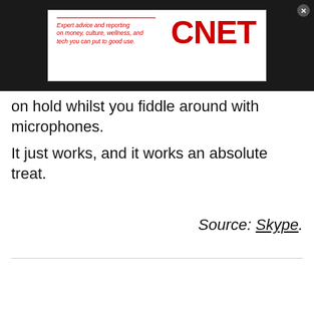[Figure (screenshot): CNET advertisement banner with red italic text 'Expert advice and reporting on money, culture, wellness, and tech you can put to good use.' and red CNET logo on white background, on dark bar]
on hold whilst you fiddle around with microphones. It just works, and it works an absolute treat.
Source: Skype.